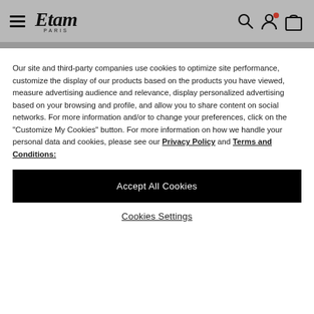Etam Paris — navigation header with hamburger menu, logo, search, account, and bag icons
Our site and third-party companies use cookies to optimize site performance, customize the display of our products based on the products you have viewed, measure advertising audience and relevance, display personalized advertising based on your browsing and profile, and allow you to share content on social networks. For more information and/or to change your preferences, click on the "Customize My Cookies" button. For more information on how we handle your personal data and cookies, please see our Privacy Policy and Terms and Conditions:
Accept All Cookies
Cookies Settings